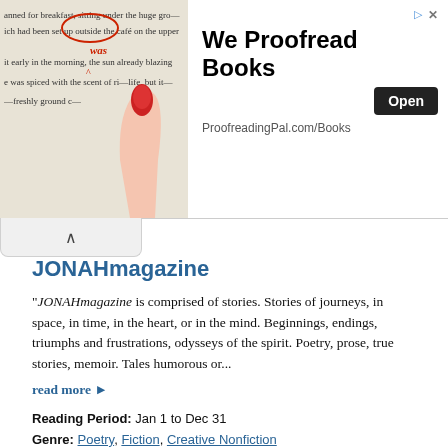[Figure (photo): Advertisement banner image showing a hand with red-painted nails making proofreading corrections on a printed page]
We Proofread Books
ProofreadingPal.com/Books
JONAHmagazine
“JONAHmagazine is comprised of stories. Stories of journeys, in space, in time, in the heart, or in the mind. Beginnings, endings, triumphs and frustrations, odysseys of the spirit. Poetry, prose, true stories, memoir. Tales humorous or...
read more ▶
Reading Period:  Jan 1 to Dec 31
Genre:  Poetry, Fiction, Creative Nonfiction
Genres:  Autobiography/Memoir, Humor,